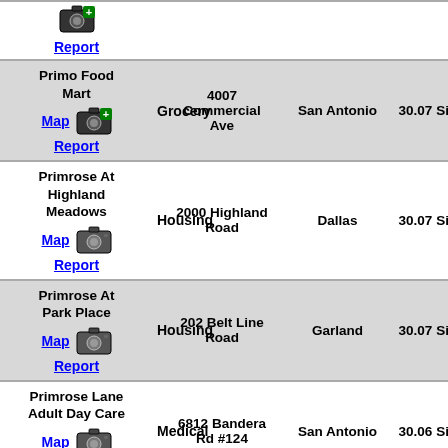| Name/Links | Type | Address | City | Score |
| --- | --- | --- | --- | --- |
| Report |  |  |  |  |
| Primo Food Mart
Map Report | Grocery | 4007 Commercial Ave | San Antonio | 30.07 Sign |
| Primrose At Highland Meadows
Map Report | Housing | 2000 Highland Road | Dallas | 30.07 Sign |
| Primrose At Park Place
Map Report | Housing | 202 Belt Line Road | Garland | 30.07 Sign |
| Primrose Lane Adult Day Care
Map Report | Medical | 6812 Bandera Rd #124 | San Antonio | 30.06 Sign |
| Primrose School At Bulverde Road
Map | Services | 18207 Bulverde Rd | San Antonio | 30.06 & 30.07 Sign |